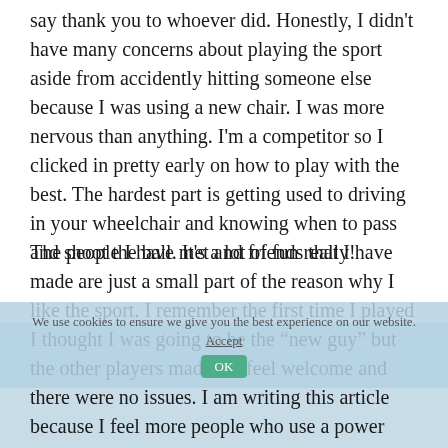say thank you to whoever did. Honestly, I didn't have many concerns about playing the sport aside from accidently hitting someone else because I was using a new chair. I was more nervous than anything. I'm a competitor so I clicked in pretty early on how to play with the best. The hardest part is getting used to driving in your wheelchair and knowing when to pass and shoot the ball. It's a lot of fun really!
The people I have met and friends that I have made are just a small part of the reason why I like the sport. I remember the first time I played I thought I was going to be the “new guy” but the other players made me feel welcome and there were no issues. I am writing this article because I feel more people who use a power wheelchair should know about this sport. I think this sport needs more public awareness and that not many people know about it. At least I didn’t until after my injury.